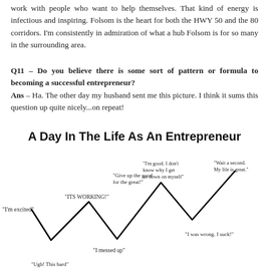work with people who want to help themselves. That kind of energy is infectious and inspiring. Folsom is the heart for both the HWY 50 and the 80 corridors. I'm consistently in admiration of what a hub Folsom is for so many in the surrounding area.
Q11 – Do you believe there is some sort of pattern or formula to becoming a successful entrepreneur?
Ans – Ha. The other day my husband sent me this picture. I think it sums this question up quite nicely...on repeat!
[Figure (infographic): A zigzag line chart titled 'A Day In The Life As An Entrepreneur' showing emotional states throughout an entrepreneur's day, with labels such as 'I'm excited', 'ITS WORKING!', 'I messed up', 'Give up the good for the great!', 'I'm good. I don't know why I get so down on myself', 'I was wrong. I suck!', 'Wait a second. My life is great.', and 'Ugh! This hard' at the bottom.]